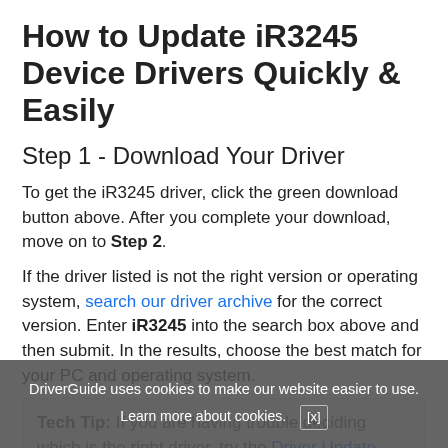How to Update iR3245 Device Drivers Quickly & Easily
Step 1 - Download Your Driver
To get the iR3245 driver, click the green download button above. After you complete your download, move on to Step 2.
If the driver listed is not the right version or operating system, search our driver archive for the correct version. Enter iR3245 into the search box above and then submit. In the results, choose the best match for your PC and operating system.
Tech Tip: If you are having trouble deciding which is the right driver, try the Driver Update Utility for iR3245. It is a software utility which automatically
DriverGuide uses cookies to make our website easier to use. Learn more about cookies. [x]